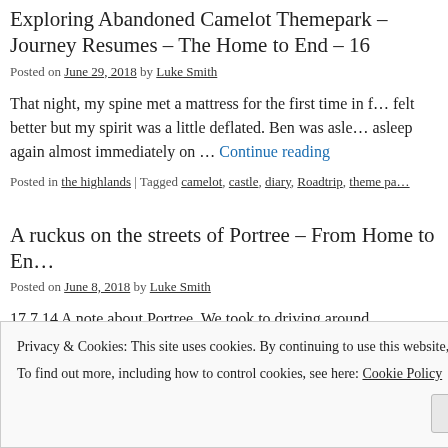Exploring Abandoned Camelot Themepark – Journey Resumes – The Home to End – 16
Posted on June 29, 2018 by Luke Smith
That night, my spine met a mattress for the first time in f… felt better but my spirit was a little deflated. Ben was asle… asleep again almost immediately on … Continue reading
Posted in the highlands | Tagged camelot, castle, diary, Roadtrip, theme pa…
A ruckus on the streets of Portree – From Home to En…
Posted on June 8, 2018 by Luke Smith
17.7.14 A note about Portree. We took to driving around…
Privacy & Cookies: This site uses cookies. By continuing to use this website, you agree to their use.
To find out more, including how to control cookies, see here: Cookie Policy
Close and accept